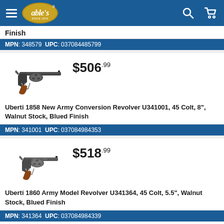able's (logo) — navigation header with search and cart icons
Finish
MPN: 348579  UPC: 037084485799
$506.99
[Figure (photo): Uberti 1858 New Army Conversion Revolver with walnut stock and blued finish, shown in side profile]
Uberti 1858 New Army Conversion Revolver U341001, 45 Colt, 8", Walnut Stock, Blued Finish
MPN: 341001  UPC: 037084984353
$518.99
[Figure (photo): Uberti 1860 Army Model Revolver with walnut stock and blued finish, shown in side profile]
Uberti 1860 Army Model Revolver U341364, 45 Colt, 5.5", Walnut Stock, Blued Finish
MPN: 341364  UPC: 037084984339